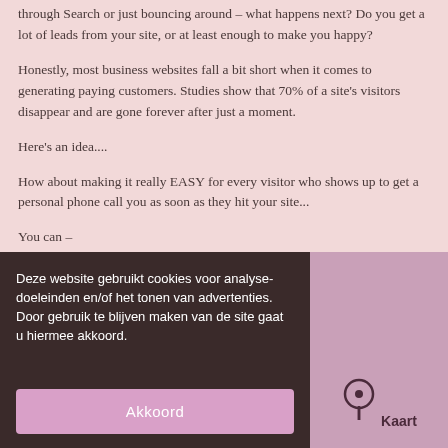through Search or just bouncing around – what happens next? Do you get a lot of leads from your site, or at least enough to make you happy?
Honestly, most business websites fall a bit short when it comes to generating paying customers. Studies show that 70% of a site's visitors disappear and are gone forever after just a moment.
Here's an idea....
How about making it really EASY for every visitor who shows up to get a personal phone call you as soon as they hit your site...
You can –
Talk With Web Visitor is a software widget that's works on your site, ready to capture any visitor's Name, Email address and Phone Number. It signals you the moment they let you know they're they're literally
Deze website gebruikt cookies voor analyse-doeleinden en/of het tonen van advertenties. Door gebruik te blijven maken van de site gaat u hiermee akkoord.
Akkoord
[Figure (other): Map icon with Kaart label in pink/mauve overlay panel]